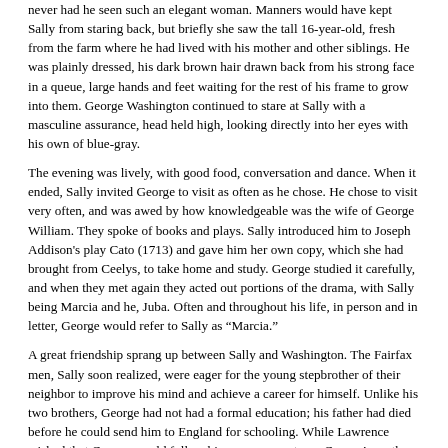never had he seen such an elegant woman. Manners would have kept Sally from staring back, but briefly she saw the tall 16-year-old, fresh from the farm where he had lived with his mother and other siblings. He was plainly dressed, his dark brown hair drawn back from his strong face in a queue, large hands and feet waiting for the rest of his frame to grow into them. George Washington continued to stare at Sally with a masculine assurance, head held high, looking directly into her eyes with his own of blue-gray.
The evening was lively, with good food, conversation and dance. When it ended, Sally invited George to visit as often as he chose. He chose to visit very often, and was awed by how knowledgeable was the wife of George William. They spoke of books and plays. Sally introduced him to Joseph Addison's play Cato (1713) and gave him her own copy, which she had brought from Ceelys, to take home and study. George studied it carefully, and when they met again they acted out portions of the drama, with Sally being Marcia and he, Juba. Often and throughout his life, in person and in letter, George would refer to Sally as “Marcia.”
A great friendship sprang up between Sally and Washington. The Fairfax men, Sally soon realized, were eager for the young stepbrother of their neighbor to improve his mind and achieve a career for himself. Unlike his two brothers, George had not had a formal education; his father had died before he could send him to England for schooling. While Lawrence wished that George would follow his own career at sea, George’s mother put an end to that idea. And so now his education would be up to his brother and the Fairfaxes, including Sally.
Sally took her task to heart. She instilled in him a desire to make something of himself. She read to him about famous leaders throughout history, urged him to enter the military and to achieve, achieve, achieve. She helped him with his writing and spelling, and with his manners in social and political situations. In addition to all this, the Fairfax men introduced him to influential military and political leaders. When the Fairfaxes invited Thomas Fairfax to see...